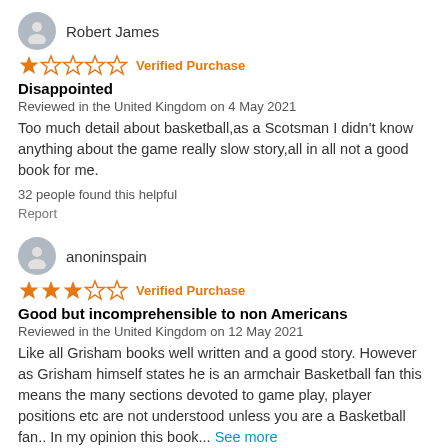Robert James
★☆☆☆☆ Verified Purchase
Disappointed
Reviewed in the United Kingdom on 4 May 2021
Too much detail about basketball,as a Scotsman I didn't know anything about the game really slow story,all in all not a good book for me.
32 people found this helpful
Report
anoninspain
★★★☆☆ Verified Purchase
Good but incomprehensible to non Americans
Reviewed in the United Kingdom on 12 May 2021
Like all Grisham books well written and a good story. However as Grisham himself states he is an armchair Basketball fan this means the many sections devoted to game play, player positions etc are not understood unless you are a Basketball fan.. In my opinion this book... See more